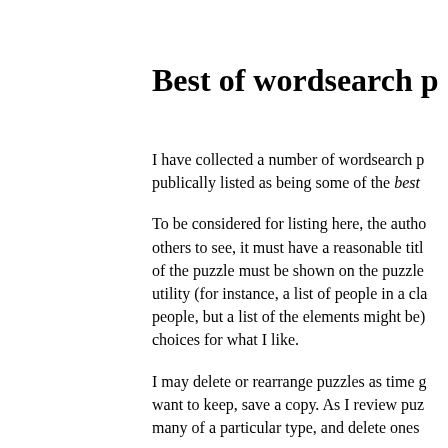Best of wordsearch p
I have collected a number of wordsearch p publically listed as being some of the best
To be considered for listing here, the autho others to see, it must have a reasonable titl of the puzzle must be shown on the puzzle utility (for instance, a list of people in a cla people, but a list of the elements might be) choices for what I like.
I may delete or rearrange puzzles as time g want to keep, save a copy. As I review puz many of a particular type, and delete ones
Note that this page doesn't keep you from are simply ones that I like.
You can help with this section!